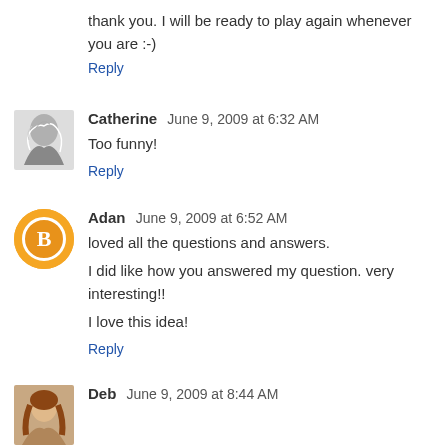thank you. I will be ready to play again whenever you are :-)
Reply
Catherine  June 9, 2009 at 6:32 AM
Too funny!
Reply
Adan  June 9, 2009 at 6:52 AM
loved all the questions and answers.
I did like how you answered my question. very interesting!!
I love this idea!
Reply
Deb  June 9, 2009 at 8:44 AM